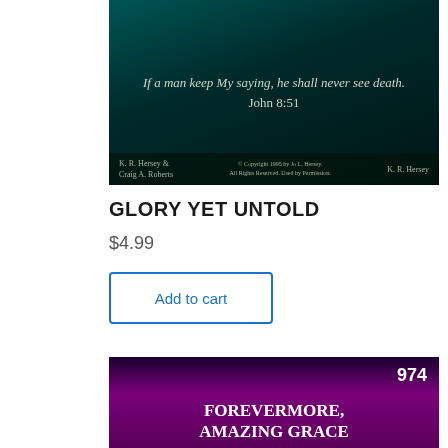[Figure (illustration): Dark teal album/hymnal cover with italic white text quote 'If a man keep My saying, he shall never see death.' and 'John 8:51'. Bottom bar shows 'K. R. Hersey & Craig A. Roberts', copyright notice, and 'K. R. Hersey'.]
GLORY YET UNTOLD
$4.99
Add to cart
[Figure (illustration): Dark purple/magenta album/hymnal cover with '974' in upper right and large white bold text 'FOREVERMORE, AMAZING GRACE' centered.]